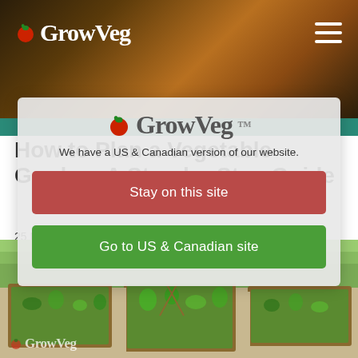GrowVeg
[Figure (screenshot): GrowVeg website screenshot showing a modal dialog overlay on an article page. The header has the GrowVeg logo on a dark brown/golden background with a hamburger menu icon. A teal bar runs below. A semi-transparent modal card shows the GrowVeg logo, text 'We have a US & Canadian version of our website.', a red 'Stay on this site' button, and a green 'Go to US & Canadian site' button. Behind the modal, the article title 'How to Plan a Vegetable Garden: A Step-by-Step Guide' dated '25 March 2011, written by Jeremy Dore' is visible. The bottom portion shows a photo of raised garden beds with a GrowVeg watermark.]
How to Plan a Vegetable Garden: A Step-by-Step Guide
25 March 2011, written by Jeremy Dore
We have a US & Canadian version of our website.
Stay on this site
Go to US & Canadian site